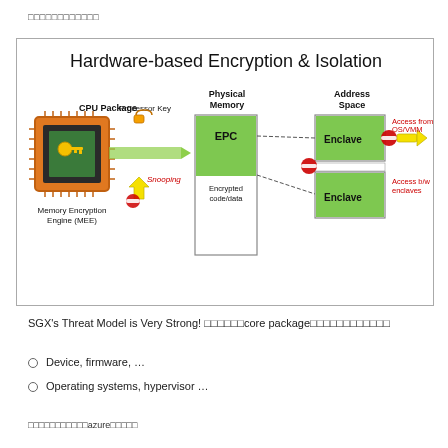□□□□□□□□□□□□
[Figure (engineering-diagram): Hardware-based Encryption & Isolation diagram showing CPU Package with Memory Encryption Engine (MEE), Processor Key, Physical Memory with EPC containing Encrypted code/data, and Address Space with two Enclave blocks. Arrows show data flow and access restrictions. Red labels indicate 'Access from OS/VMM' and 'Access b/w enclaves' with no-entry symbols. Yellow arrow labeled 'Snooping' with no-entry symbol shows blocked snooping.]
SGX's Threat Model is Very Strong! □□□□□□core package□□□□□□□□□□□□
Device, firmware, …
Operating systems, hypervisor …
□□□□□□□□□□□azure□□□□□